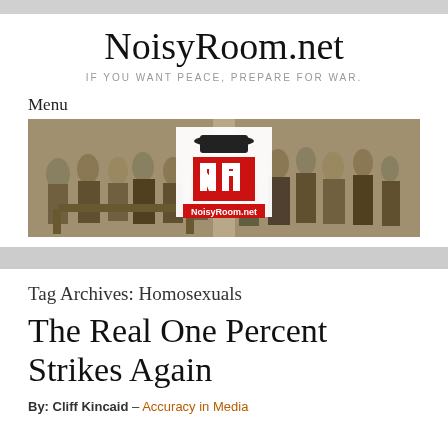NoisyRoom.net
IF YOU WANT PEACE, PREPARE FOR WAR.
Menu
[Figure (illustration): NoisyRoom.net website banner showing historical paintings of men debating on left and right sides, with the NoisyRoom.net logo (NR in red and black with a fedora hat) in the center]
Tag Archives: Homosexuals
The Real One Percent Strikes Again
By: Cliff Kincaid – Accuracy in Media